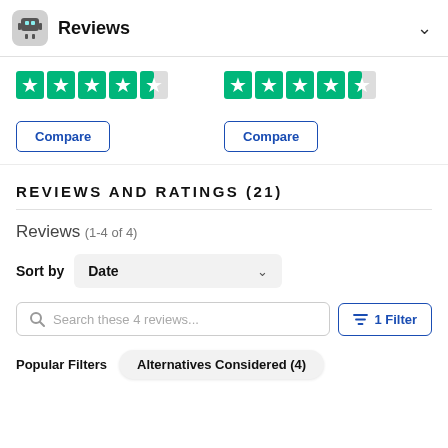Reviews
[Figure (other): Two sets of 4.5-star Trustpilot-style green star ratings displayed side by side]
Compare | Compare
REVIEWS AND RATINGS (21)
Reviews (1-4 of 4)
Sort by Date
Search these 4 reviews... 1 Filter
Popular Filters  Alternatives Considered (4)